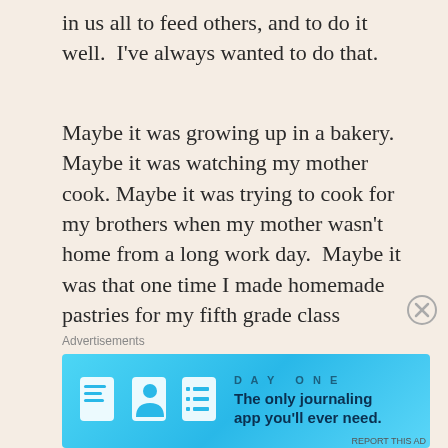in us all to feed others, and to do it well.  I've always wanted to do that.
Maybe it was growing up in a bakery.  Maybe it was watching my mother cook. Maybe it was trying to cook for my brothers when my mother wasn't home from a long work day.  Maybe it was that one time I made homemade pastries for my fifth grade class (Chinese crackers chocolate and butterscotch chips), or the other time I had to make my twist on egg rolls for an Sophomore English class;the topic, food from your culture (ground beef sautéed
Advertisements
[Figure (infographic): Advertisement banner for Day One journaling app on a blue background. Shows DAY ONE logo with icons of a notebook, person, and list. Text reads: The only journaling app you'll ever need.]